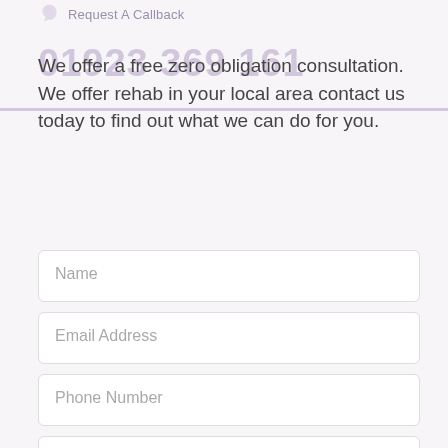Request A Callback
01923 369 161
We offer a free zero obligation consultation. We offer rehab in your local area contact us today to find out what we can do for you.
Name
Email Address
Phone Number
Message